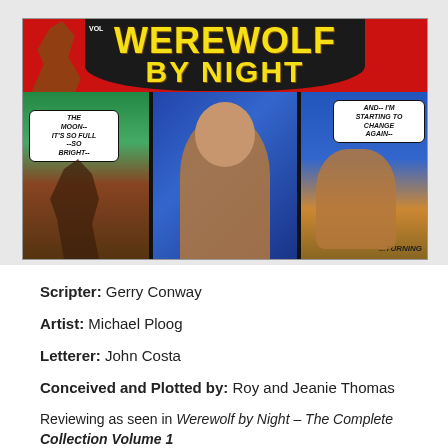[Figure (illustration): Comic book cover for Werewolf by Night showing the title in yellow letters on a dark background, with three comic panels below depicting a werewolf character transforming, with speech bubbles reading 'THE MOON-- IT'S SO FULL --SO BRIGHT--' and 'AND-- I'M STARTING TO CHANGE AGAIN--' and '...TURNING']
Scripter: Gerry Conway
Artist: Michael Ploog
Letterer: John Costa
Conceived and Plotted by: Roy and Jeanie Thomas
Reviewing as seen in Werewolf by Night – The Complete Collection Volume 1